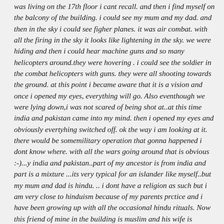was living on the 17th floor i cant recall. and then i find myself on the balcony of the building. i could see my mum and my dad. and then in the sky i could see figher planes. it was air combat. with all the firing in the sky it looks like lightening in the sky. we were hiding and then i could hear machine guns and so many helicopters around.they were hovering . i could see the soldier in the combat helicopters with guns. they were all shooting towards the ground. at this point i became aware that it is a vision and once i opened my eyes, everything will go. Also eventhough we were lying down,i was not scared of being shot at..at this time india and pakistan came into my mind. then i opened my eyes and obviously evertyhing switched off. ok the way i am looking at it. there would be somemilitary operation that gonna happened i dont know where. with all the wars going around that is obvious :-)...y india and pakistan..part of my ancestor is from india and part is a mixture ...its very typical for an islander like myself..but my mum and dad is hindu. .. i dont have a religion as such but i am very close to hinduism because of my parents prctice and i have been growing up with all the occasional hindu rituals. Now this friend of mine in the building is muslim and his wife is pakistani...may be its far fetched but that was ahy i tried